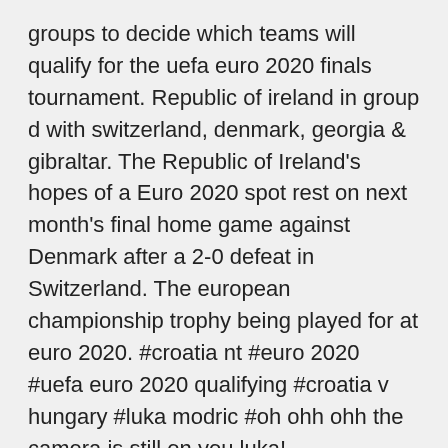groups to decide which teams will qualify for the uefa euro 2020 finals tournament. Republic of ireland in group d with switzerland, denmark, georgia & gibraltar. The Republic of Ireland's hopes of a Euro 2020 spot rest on next month's final home game against Denmark after a 2-0 defeat in Switzerland. The european championship trophy being played for at euro 2020. #croatia nt #euro 2020 #uefa euro 2020 qualifying #croatia v hungary #luka modric #oh ohh ohh the camera is still on you luka!
Republic of ireland in group d with switzerland, denmark, georgia & gibraltar. · The european championship trophy being played for at euro 2020. #croatia nt #euro 2020 #uefa euro 2020 qualifying #croatia v hungary #luka modric #oh ohh ohh the camera is still on you luka! The delayed euro 2020 tournament gets under way on june